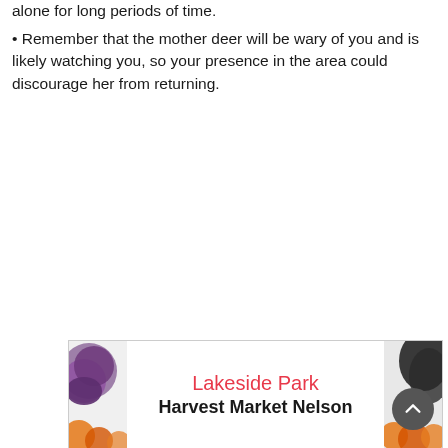alone for long periods of time.
• Remember that the mother deer will be wary of you and is likely watching you, so your presence in the area could discourage her from returning.
[Figure (other): Lakeside Park Harvest Market Nelson banner advertisement with vegetable/produce imagery on left and right sides]
[Figure (other): Back to top button - dark circular button with upward chevron arrow]